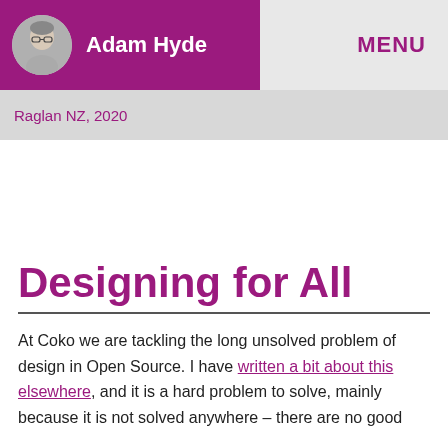Adam Hyde   MENU
Raglan NZ, 2020
Designing for All
At Coko we are tackling the long unsolved problem of design in Open Source. I have written a bit about this elsewhere, and it is a hard problem to solve, mainly because it is not solved anywhere – there are no good